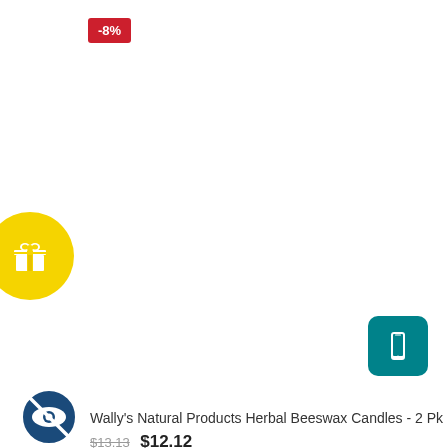[Figure (infographic): Red discount badge showing -8%]
[Figure (infographic): Yellow rounded button with white gift box icon]
[Figure (infographic): Teal rounded square button with white smartphone icon]
[Figure (infographic): Dark blue circle with a crossed-out eye icon (hide/private icon)]
Wally's Natural Products Herbal Beeswax Candles - 2 Pk
$13.13 $12.12